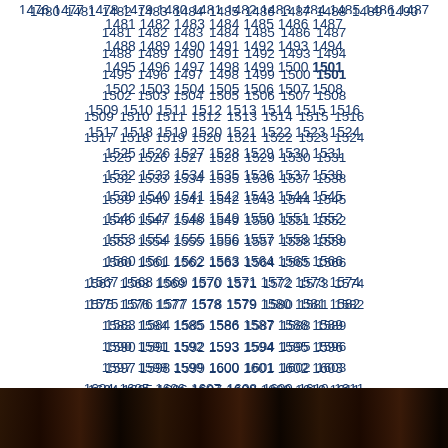1481 1482 1483 1484 1485 1486 1487 1488 1489 1490 1491 1492 1493 1494 1495 1496 1497 1498 1499 1500 1501 1502 1503 1504 1505 1506 1507 1508 1509 1510 1511 1512 1513 1514 1515 1516 1517 1518 1519 1520 1521 1522 1523 1524 1525 1526 1527 1528 1529 1530 1531 1532 1533 1534 1535 1536 1537 1538 1539 1540 1541 1542 1543 1544 1545 1546 1547 1548 1549 1550 1551 1552 1553 1554 1555 1556 1557 1558 1559 1560 1561 1562 1563 1564 1565 1566 1567 1568 1569 1570 1571 1572 1573 1574 1575 1576 1577 1578 1579 1580 1581 1582 1583 1584 1585 1586 1587 1588 1589 1590 1591 1592 1593 1594 1595 1596 1597 1598 1599 1600 1601 1602 1603 1604 1605 1606 1607 1608 1609 1610 1611 1612 1613 1614
[Figure (photo): Dark photo strip at the bottom showing people]